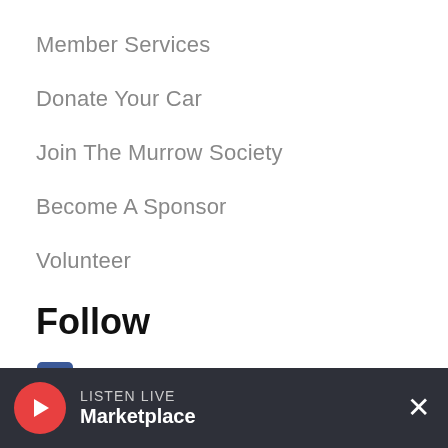Member Services
Donate Your Car
Join The Murrow Society
Become A Sponsor
Volunteer
Follow
Facebook
Twitter
Instagram
YouTube
LISTEN LIVE
Marketplace